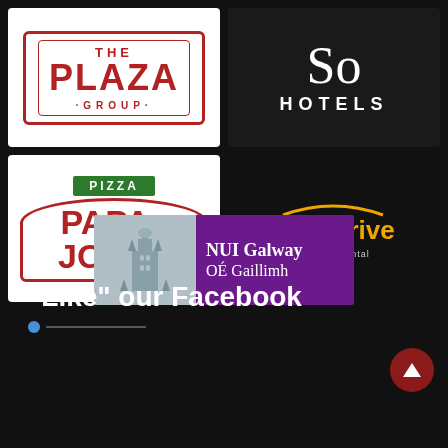[Figure (logo): The Plaza Group logo - red border hexagonal shape with THE PLAZA GROUP text]
[Figure (logo): SO Hotels logo - large stylized SO on dark background with HOTELS text]
[Figure (logo): Papa John's Pizza logo - red lettering with green PIZZA banner]
[Figure (logo): BestDrive by Continental logo - orange text with car silhouette arc]
[Figure (logo): NUI Galway / OE Gaillimh logo - purple banner with university tower image]
“Like” our Facebook
[Figure (other): Scroll to top button - dark red circle with upward arrow]